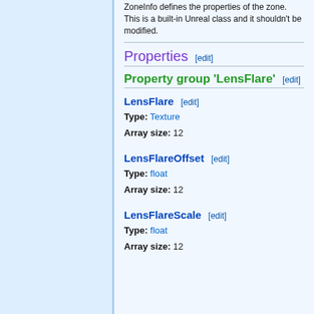ZoneInfo defines the properties of the zone. This is a built-in Unreal class and it shouldn't be modified.
Properties [edit]
Property group 'LensFlare' [edit]
LensFlare [edit]
Type: Texture
Array size: 12
LensFlareOffset [edit]
Type: float
Array size: 12
LensFlareScale [edit]
Type: float
Array size: 12